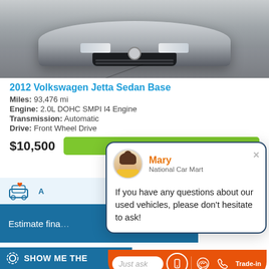[Figure (photo): Front-end close-up of a white/silver Volkswagen Jetta Sedan, showing the front bumper, grille, and hood against a gray asphalt background.]
2012 Volkswagen Jetta Sedan Base
Miles: 93,476 mi
Engine: 2.0L DOHC SMPI I4 Engine
Transmission: Automatic
Drive: Front Wheel Drive
$10,500
[Figure (screenshot): Chat popup from Mary at National Car Mart saying 'If you have any questions about our used vehicles, please don't hesitate to ask!' with a Just ask input bar and action icons at the bottom.]
Estimate financing
SHOW ME THE